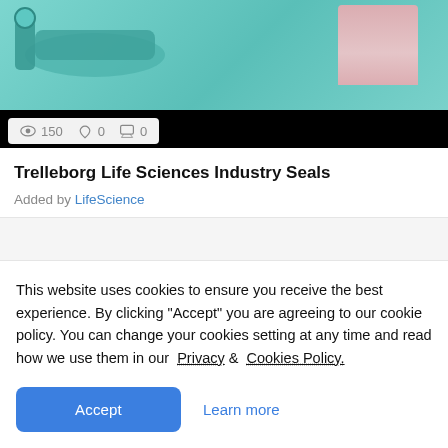[Figure (photo): Medical imaging equipment (MRI or CT scanner room) with teal-colored machinery and a patient in pink pants visible; shows view count 150, likes 0, comments 0 in bottom overlay bar]
Trelleborg Life Sciences Industry Seals
Added by LifeScience
This website uses cookies to ensure you receive the best experience. By clicking "Accept" you are agreeing to our cookie policy. You can change your cookies setting at any time and read how we use them in our Privacy & Cookies Policy.